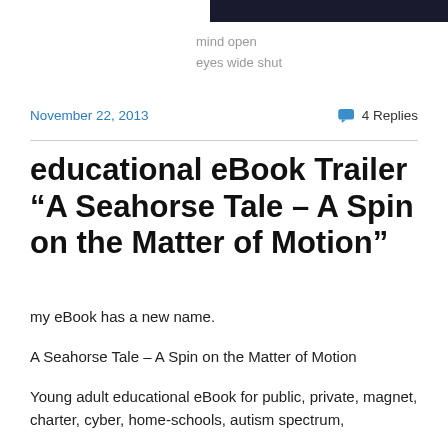[Figure (photo): Dark banner image at top right of page]
mind open
eyes wide shut
November 22, 2013
4 Replies
educational eBook Trailer “A Seahorse Tale – A Spin on the Matter of Motion”
my eBook has a new name.
A Seahorse Tale – A Spin on the Matter of Motion
Young adult educational eBook for public, private, magnet, charter, cyber, home-schools, autism spectrum,